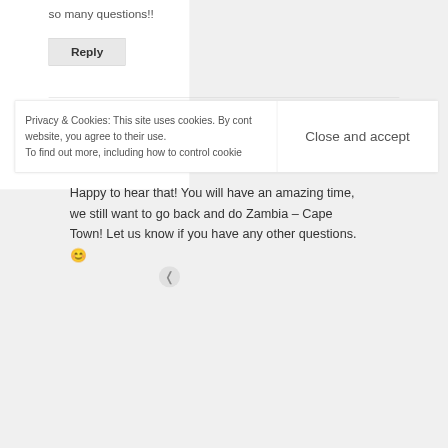so many questions!!
Reply
finelinetravels
March 31, 2015
[Figure (photo): Black and white photo of a couple]
Happy to hear that! You will have an amazing time, we still want to go back and do Zambia – Cape Town! Let us know if you have any other questions. 😊
Privacy & Cookies: This site uses cookies. By cont website, you agree to their use. To find out more, including how to control cookie
Close and accept